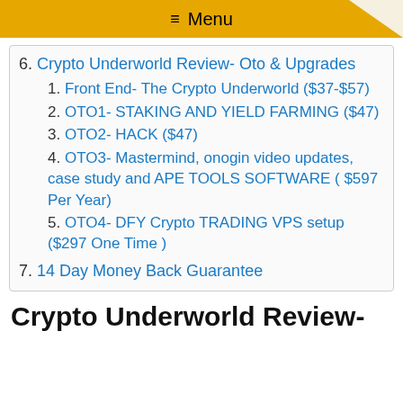≡ Menu
6. Crypto Underworld Review- Oto & Upgrades
1. Front End- The Crypto Underworld ($37-$57)
2. OTO1- STAKING AND YIELD FARMING ($47)
3. OTO2- HACK ($47)
4. OTO3- Mastermind, onogin video updates, case study and APE TOOLS SOFTWARE ( $597 Per Year)
5. OTO4- DFY Crypto TRADING VPS setup ($297 One Time )
7. 14 Day Money Back Guarantee
Crypto Underworld Review-